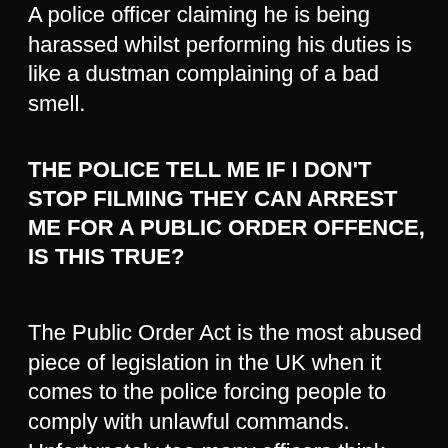A police officer claiming he is being harassed whilst performing his duties is like a dustman complaining of a bad smell.
THE POLICE TELL ME IF I DON'T STOP FILMING THEY CAN ARREST ME FOR A PUBLIC ORDER OFFENCE, IS THIS TRUE?
The Public Order Act is the most abused piece of legislation in the UK when it comes to the police forcing people to comply with unlawful commands. Unfortunately too many officers think that 'talking back' is an arrestable offence, by way of breach of the peace or anti social behaviour laws.